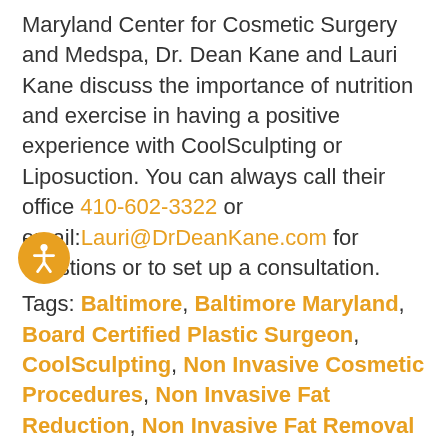Maryland Center for Cosmetic Surgery and Medspa, Dr. Dean Kane and Lauri Kane discuss the importance of nutrition and exercise in having a positive experience with CoolSculpting or Liposuction. You can always call their office 410-602-3322 or email:Lauri@DrDeanKane.com for questions or to set up a consultation.
Tags: Baltimore, Baltimore Maryland, Board Certified Plastic Surgeon, CoolSculpting, Non Invasive Cosmetic Procedures, Non Invasive Fat Reduction, Non Invasive Fat Removal